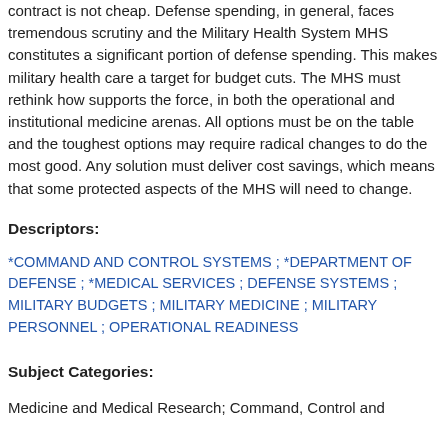contract is not cheap. Defense spending, in general, faces tremendous scrutiny and the Military Health System MHS constitutes a significant portion of defense spending. This makes military health care a target for budget cuts. The MHS must rethink how supports the force, in both the operational and institutional medicine arenas. All options must be on the table and the toughest options may require radical changes to do the most good. Any solution must deliver cost savings, which means that some protected aspects of the MHS will need to change.
Descriptors:
*COMMAND AND CONTROL SYSTEMS ; *DEPARTMENT OF DEFENSE ; *MEDICAL SERVICES ; DEFENSE SYSTEMS ; MILITARY BUDGETS ; MILITARY MEDICINE ; MILITARY PERSONNEL ; OPERATIONAL READINESS
Subject Categories:
Medicine and Medical Research; Command, Control and